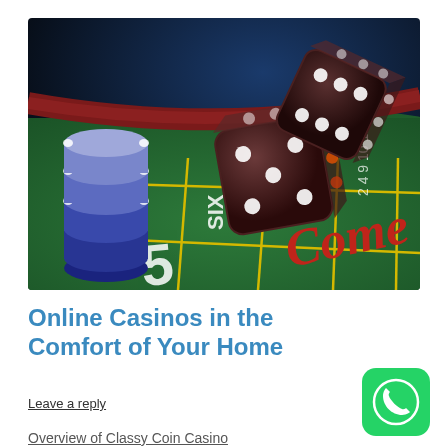[Figure (photo): Casino craps table with green felt, yellow grid lines showing numbers 5, 6, 8 and 'COME' text, with dark dice and stacks of blue/white poker chips.]
Online Casinos in the Comfort of Your Home
Leave a reply
[Figure (logo): WhatsApp icon — green rounded square with white phone handset silhouette]
Overview of Classy Coin Casino